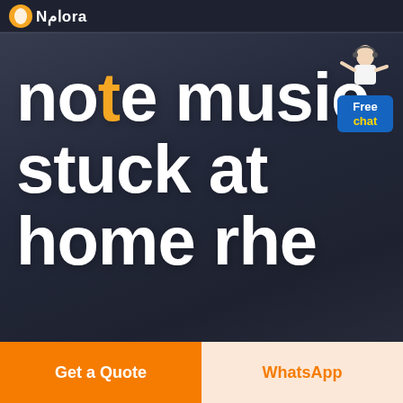Nامora
note music stuck at home rhe
[Figure (illustration): Customer service agent figure standing next to a blue 'Free chat' button widget in the top right corner]
Free chat
Get a Quote
WhatsApp